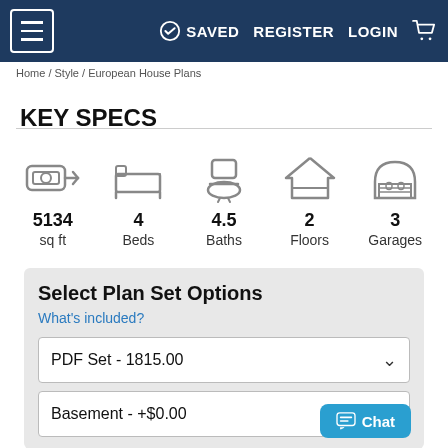☰  ✓ SAVED  REGISTER  LOGIN  🛒
Home / Style / European House Plans
KEY SPECS
[Figure (infographic): 5 icons representing house specs: 5134 sq ft, 4 Beds, 4.5 Baths, 2 Floors, 3 Garages]
Select Plan Set Options
What's included?
PDF Set - 1815.00
Basement - +$0.00